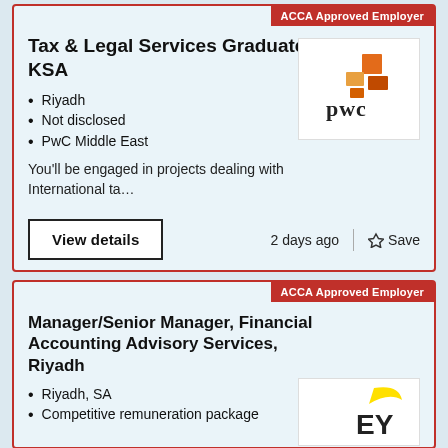ACCA Approved Employer
Tax & Legal Services Graduates - All KSA
Riyadh
Not disclosed
PwC Middle East
[Figure (logo): PwC logo with orange geometric blocks and 'pwc' text]
You'll be engaged in projects dealing with International ta…
View details
2 days ago
Save
ACCA Approved Employer
Manager/Senior Manager, Financial Accounting Advisory Services, Riyadh
Riyadh, SA
Competitive remuneration package
[Figure (logo): EY logo with yellow diagonal swoosh and bold 'EY' text]